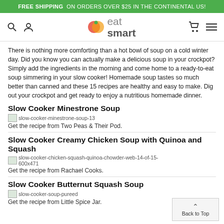FREE SHIPPING ON ORDERS OVER $25 IN THE CONTINENTAL US!
[Figure (logo): EatSmart logo with colorful circle graphic and navigation icons (search, user, cart, menu)]
There is nothing more comforting than a hot bowl of soup on a cold winter day. Did you know you can actually make a delicious soup in your crockpot? Simply add the ingredients in the morning and come home to a ready-to-eat soup simmering in your slow cooker! Homemade soup tastes so much better than canned and these 15 recipes are healthy and easy to make. Dig out your crockpot and get ready to enjoy a nutritious homemade dinner.
Slow Cooker Minestrone Soup
[Figure (photo): Broken image placeholder: slow-cooker-minestrone-soup-13]
Get the recipe from Two Peas & Their Pod.
Slow Cooker Creamy Chicken Soup with Quinoa and Squash
[Figure (photo): Broken image placeholder: slow-cooker-chicken-squash-quinoa-chowder-web-14-of-15-600x471]
Get the recipe from Rachael Cooks.
Slow Cooker Butternut Squash Soup
[Figure (photo): Broken image placeholder: slow-cooker-soup-pureed]
Get the recipe from Little Spice Jar.